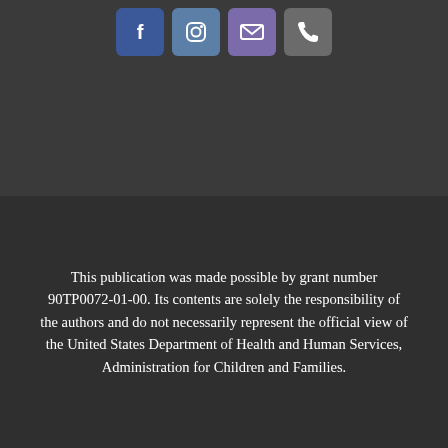[Figure (infographic): Social media icons row: Facebook (blue), Instagram (blue-grey), email/envelope (purple), phone (grey)]
This publication was made possible by grant number 90TP0072-01-00. Its contents are solely the responsibility of the authors and do not necessarily represent the official view of the United States Department of Health and Human Services, Administration for Children and Families.